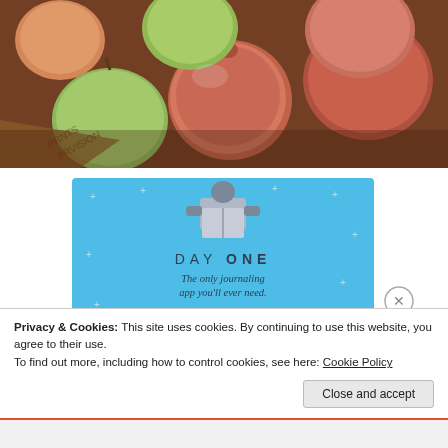[Figure (photo): Overhead photo of apples in a cardboard box, mix of green and red/pink apples]
[Figure (infographic): Day One journaling app advertisement. Light blue background with plus/star decorations, illustrated figure icon holding a journal, text 'DAY ONE', tagline 'The only journaling app you'll ever need.', and a dark blue 'Get the app' button.]
Privacy & Cookies: This site uses cookies. By continuing to use this website, you agree to their use.
To find out more, including how to control cookies, see here: Cookie Policy
Close and accept